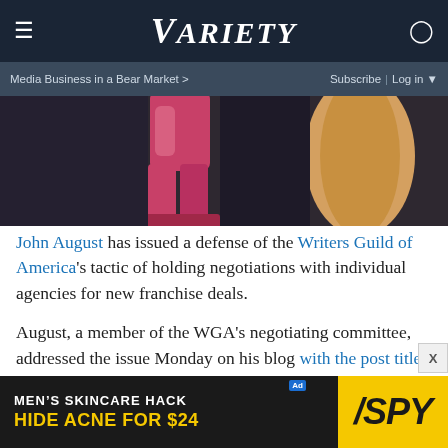≡  VARIETY  👤  |  Media Business in a Bear Market >  Subscribe | Log in ▼
[Figure (photo): Cropped photo of a person in pink/magenta clothing and pants, partial view, dark background]
John August has issued a defense of the Writers Guild of America's tactic of holding negotiations with individual agencies for new franchise deals.
August, a member of the WGA's negotiating committee, addressed the issue Monday on his blog with the post titled "The Myth of 'No Negotiations.'"
"In that spirit, I want to address a pernicious myth that's being amplified by some of the candidates running for off…
[Figure (infographic): Advertisement banner: MEN'S SKINCARE HACK – HIDE ACNE FOR $24 – SPY brand logo in yellow and black]